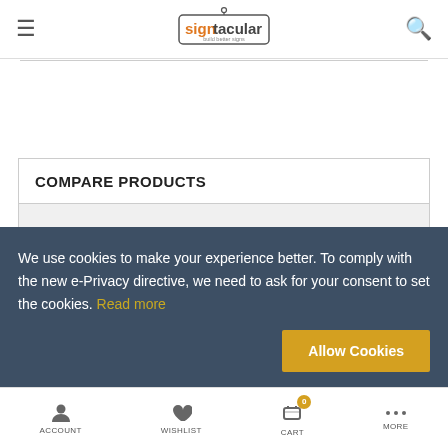signtacular — build better signs
COMPARE PRODUCTS
We use cookies to make your experience better. To comply with the new e-Privacy directive, we need to ask for your consent to set the cookies. Read more
ACCOUNT   WISHLIST   CART 0   MORE